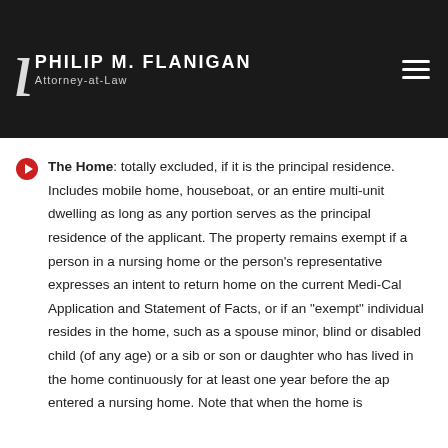PHILIP M. FLANIGAN Attorney-at-Law
The Home: totally excluded, if it is the principal residence. Includes mobile home, houseboat, or an entire multi-unit dwelling as long as any portion serves as the principal residence of the applicant. The property remains exempt if a person in a nursing home or the person's representative expresses an intent to return home on the current Medi-Cal Application and Statement of Facts, or if an "exempt" individual resides in the home, such as a spouse minor, blind or disabled child (of any age) or a sib or son or daughter who has lived in the home continuously for at least one year before the ap entered a nursing home. Note that when the home is